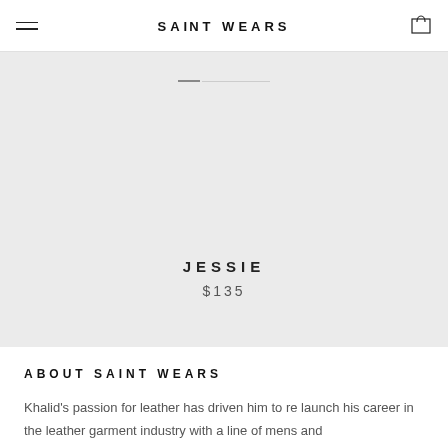SAINT WEARS
[Figure (other): Product image placeholder area with slider progress indicator for item JESSIE]
JESSIE
$135
ABOUT SAINT WEARS
Khalid's passion for leather has driven him to re launch his career in the leather garment industry with a line of mens and